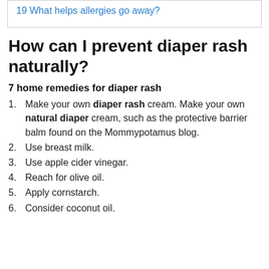19 What helps allergies go away?
How can I prevent diaper rash naturally?
7 home remedies for diaper rash
Make your own diaper rash cream. Make your own natural diaper cream, such as the protective barrier balm found on the Mommypotamus blog.
Use breast milk.
Use apple cider vinegar.
Reach for olive oil.
Apply cornstarch.
Consider coconut oil.